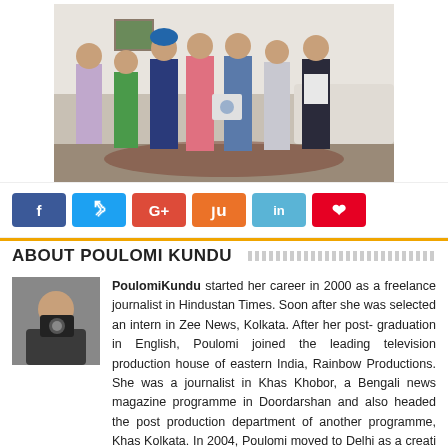[Figure (photo): Group photo of seven people standing in a room, one person holding a plaque or award.]
[Figure (infographic): Social media share buttons: Facebook (blue), Twitter (light blue), Google+ (red), StumbleUpon (orange), LinkedIn (light blue), Pinterest (red).]
ABOUT POULOMI KUNDU
[Figure (photo): Small portrait photo of Poulomi Kundu holding a camera.]
PoulomiKundu started her career in 2000 as a freelance journalist in Hindustan Times. Soon after she was selected an intern in Zee News, Kolkata. After her post- graduation in English, Poulomi joined the leading television production house of eastern India, Rainbow Productions. She was a journalist in Khas Khobor, a Bengali news magazine programme in Doordarshan and also headed the post production department of another programme, Khas Kolkata. In 2004, Poulomi moved to Delhi as a creative